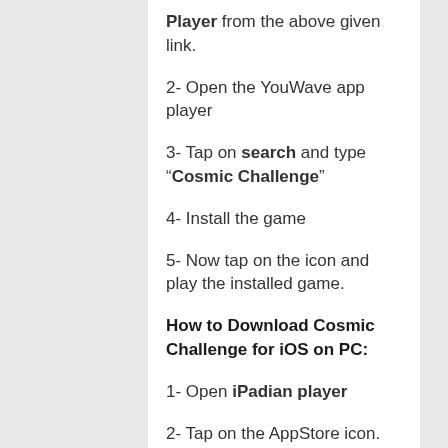Player from the above given link.
2- Open the YouWave app player
3- Tap on search and type “Cosmic Challenge”
4- Install the game
5- Now tap on the icon and play the installed game.
How to Download Cosmic Challenge for iOS on PC:
1- Open iPadian player
2- Tap on the AppStore icon.
3- Go to Search and type the...